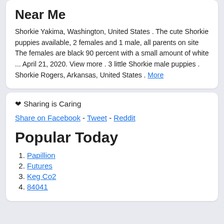Near Me
Shorkie Yakima, Washington, United States . The cute Shorkie puppies available, 2 females and 1 male, all parents on site The females are black 90 percent with a small amount of white ... April 21, 2020. View more . 3 little Shorkie male puppies . Shorkie Rogers, Arkansas, United States . More
❤ Sharing is Caring
Share on Facebook - Tweet - Reddit
Popular Today
1. Papillion
2. Futures
3. Keg Co2
4. 84041